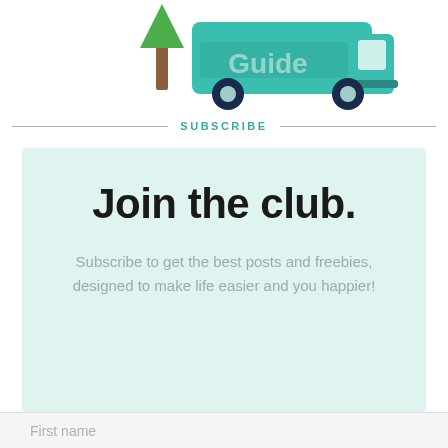[Figure (illustration): Illustration of a teal camper van with the word 'Guide' on its side, next to a brown tree, on a white background]
SUBSCRIBE
Join the club.
Subscribe to get the best posts and freebies, designed to make life easier and you happier!
First name